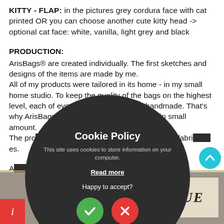KITTY - FLAP:  in the pictures grey cordura face with cat printed OR you can choose another cute kitty head -> optional cat face: white, vanilla, light grey and black
PRODUCTION:
ArisBags® are created individually. The first sketches and designs of the items are made by me.
All of my products were tailored in its home - in my small home studio. To keep the quality of the bags on the highest level, each of every single products are handmade. That's why ArisBags® can be found on the market in small amount.
The pro... m high quality waxed cotton canvas fabri... es.
A... ed by ArisBags® - Theft of images i...
[Figure (screenshot): Cookie Policy popup overlay: dark circular dialog with title 'Cookie Policy', subtitle 'This site uses cookies to store information on your computer.', 'Read more' link, 'Happy to accept?' text, green checkmark button and red X button.]
TAL PARTS
[Figure (photo): Bottom image strip showing a grey/brown textured background with an 'ANTIQUE' label box on the right side, a red triangle info icon bottom left, a teal scroll-to-top button on the right.]